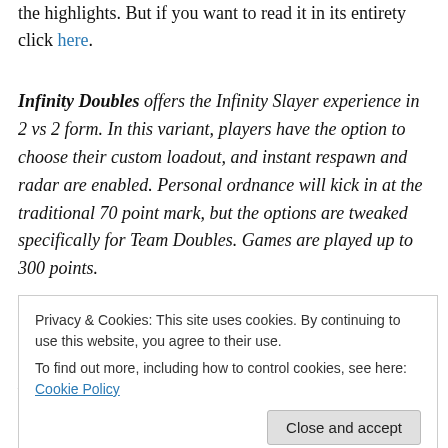the highlights. But if you want to read it in its entirety click here.
Infinity Doubles offers the Infinity Slayer experience in 2 vs 2 form. In this variant, players have the option to choose their custom loadout, and instant respawn and radar are enabled. Personal ordnance will kick in at the traditional 70 point mark, but the options are tweaked specifically for Team Doubles. Games are played up to 300 points.
Doubles Pro offers an experience that features preset
Privacy & Cookies: This site uses cookies. By continuing to use this website, you agree to their use. To find out more, including how to control cookies, see here: Cookie Policy
Close and accept
Starting Weapon – DMR